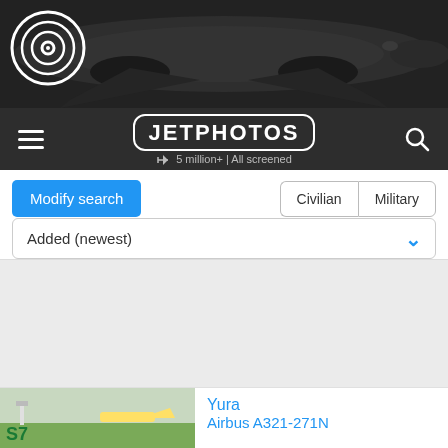[Figure (screenshot): JetPhotos website screenshot showing a mobile browser view with navigation bar, search controls, sort dropdown, advertisement area, and a photo card for an Airbus A321-271N by user Yura]
JETPHOTOS — 5 million+ | All screened
Modify search
Civilian  Military
Added (newest)
Yura
Airbus A321-271N